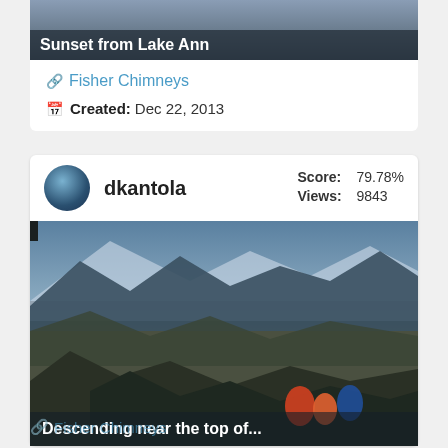[Figure (photo): Mountain/lake sunset scene with dark overlay title bar at bottom]
Sunset from Lake Ann
Fisher Chimneys
Created: Dec 22, 2013
[Figure (photo): User profile card for dkantola showing mountain climbing photo with hikers descending rocky terrain with snow and mountains in background]
dkantola Score: 79.78% Views: 9843
Descending near the top of...
Fisher Chimneys